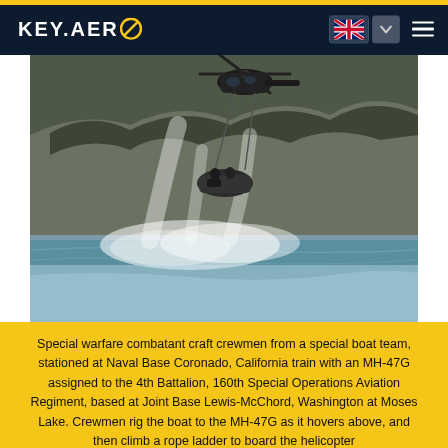KEY.AERO
[Figure (photo): A military MH-47G helicopter hovering above water with a combat craft (boat) suspended below it on rigging lines, with a rocky cliff face in the background and water spray visible.]
Special warfare combatant craft crewmen from a special boat team, stationed at Naval Base Coronado, California train with an MH-47G assigned to the 4th Battalion, 160th Special Operations Aviation Regiment, based at Joint Base Lewis-McChord, Washington at Moses Lake. Crewmen rig the boat to the MH-47G as it hovers above, and then climb a rope ladder to board the helicopter